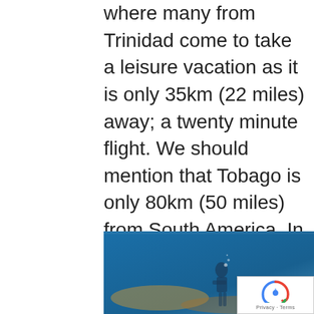where many from Trinidad come to take a leisure vacation as it is only 35km (22 miles) away; a twenty minute flight. We should mention that Tobago is only 80km (50 miles) from South America. In fact, most of the flora and fauna is identical to what you would expect to find in South America as a land bridge connected this region during the end of the last ice age.
[Figure (photo): Underwater photo showing a scuba diver near coral reef in blue ocean water]
[Figure (photo): Tropical landscape with palm trees and green mountain hillside]